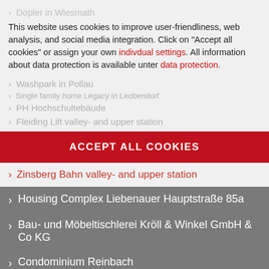> Dopler in Wiesmath
This website uses cookies to improve user-friendliness, web analysis, and social media integration. Click on "Accept all cookies" or assign your own individual settings. All information about data protection is available unter data protection.
> Washpark in Pollau
> PH Hochschultebäude
> Fleiding Lift valley- and upper station
ACCEPT ALL COOKIES
> Zinsberg Bahn valley- and upper station
> Building project Purkersdorf
> Housing Complex Liebenauer Hauptstraße 85a
> Bau- und Möbeltischlerei Kröll & Winkel GmbH & Co KG
> Condominium Reinbach
> Kindergarten Mohnstrasse
> Single-family home DI Achner in Teifling